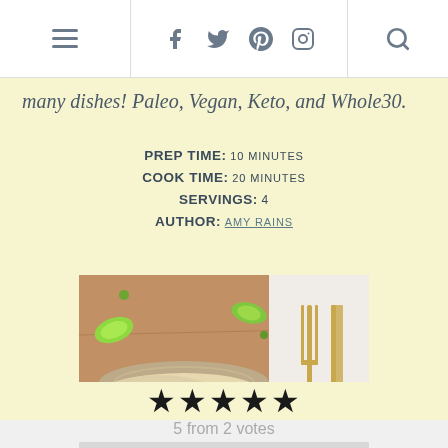≡  f  𝕋  𝑝  📷  🔍
many dishes! Paleo, Vegan, Keto, and Whole30.
PREP TIME: 10 MINUTES
COOK TIME: 20 MINUTES
SERVINGS: 4
AUTHOR: AMY RAINS
[Figure (photo): A bowl of cauliflower rice garnished with lime slices and herbs, served on a wooden cutting board with a gold fork and knife beside it]
★★★★★
5 from 2 votes